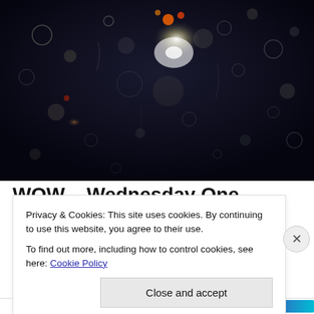[Figure (photo): Night photo looking through a rain-covered windshield with bokeh lights — dark background with blurred circular light reflections and water droplets, some orange/red lights visible at top center]
WOW – Wednesday One
Privacy & Cookies: This site uses cookies. By continuing to use this website, you agree to their use.
To find out more, including how to control cookies, see here: Cookie Policy
Close and accept